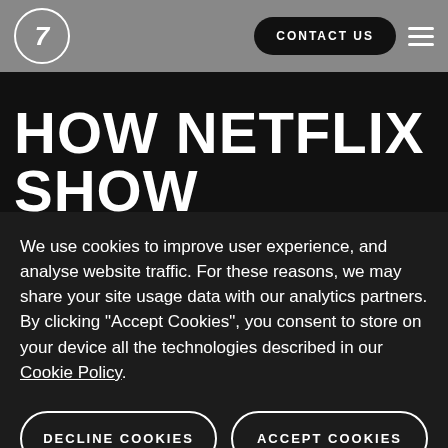7 | CONTACT US [hamburger menu]
HOW NETFLIX SHOW
We use cookies to improve user experience, and analyse website traffic. For these reasons, we may share your site usage data with our analytics partners. By clicking “Accept Cookies”, you consent to store on your device all the technologies described in our Cookie Policy.
DECLINE COOKIES
ACCEPT COOKIES